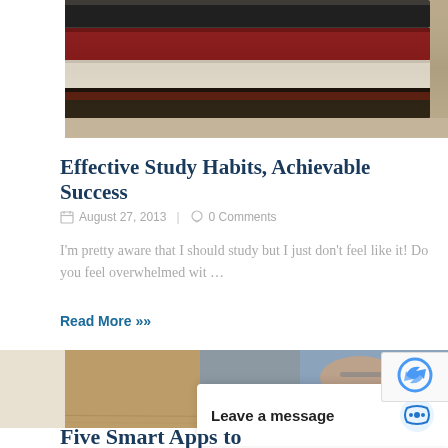[Figure (photo): Stack of books with blurred motion effect, close-up shot]
Effective Study Habits, Achievable Success
August 27, 2013  |  0 Comments
I'm pretty aware that I should study but I just don't feel like it! Do you feel overwhelmed wit …
Read More  »
[Figure (photo): Person in blue shirt sitting at wooden desk, holding a pen, with colorful notebooks]
Leave a message
Five Smart Apps to